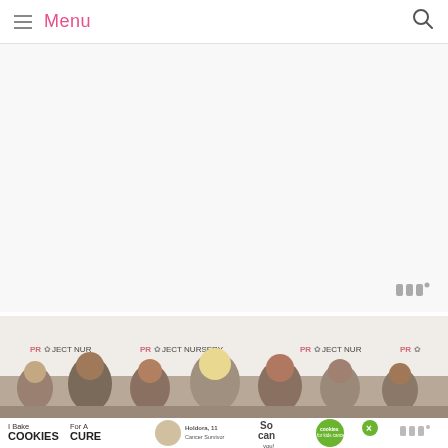Menu
[Figure (other): Advertisement / blank white area below navigation header]
[Figure (photo): Group photo of seven women standing in front of a Project Nursery branded backdrop/step-and-repeat banner]
[Figure (other): Cookie advertisement banner: 'I Bake COOKIES For A CURE - Holdora, 11 Cancer Survivor - So can you! - cookies for kids cancer' with a green X close button]